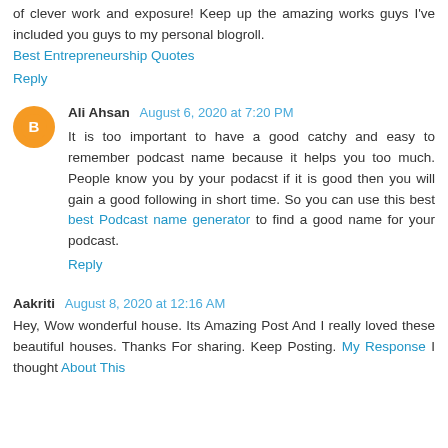of clever work and exposure! Keep up the amazing works guys I've included you guys to my personal blogroll.
Best Entrepreneurship Quotes

Reply
Ali Ahsan  August 6, 2020 at 7:20 PM

It is too important to have a good catchy and easy to remember podcast name because it helps you too much. People know you by your podacst if it is good then you will gain a good following in short time. So you can use this best best Podcast name generator to find a good name for your podcast.

Reply
Aakriti  August 8, 2020 at 12:16 AM

Hey, Wow wonderful house. Its Amazing Post And I really loved these beautiful houses. Thanks For sharing. Keep Posting. My Response I thought About This